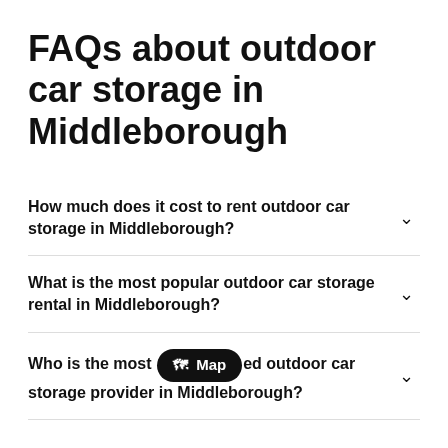FAQs about outdoor car storage in Middleborough
How much does it cost to rent outdoor car storage in Middleborough?
What is the most popular outdoor car storage rental in Middleborough?
Who is the most [Map] ed outdoor car storage provider in Middleborough?